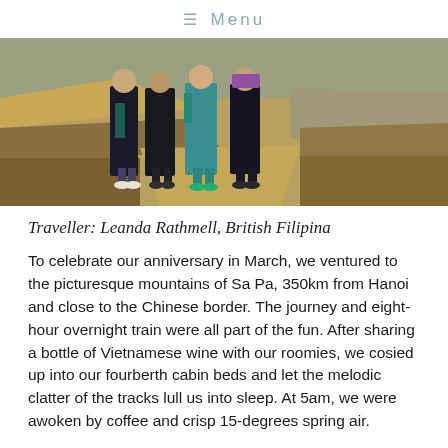≡ Menu
[Figure (photo): Four people standing outdoors in a mountainous landscape, one wearing teal/turquoise clothing, others in dark traditional-style clothing, with earthy hillside terrain and rocky outcrops in background]
Traveller: Leanda Rathmell, British Filipina
To celebrate our anniversary in March, we ventured to the picturesque mountains of Sa Pa, 350km from Hanoi and close to the Chinese border. The journey and eight-hour overnight train were all part of the fun. After sharing a bottle of Vietnamese wine with our roomies, we cosied up into our fourberth cabin beds and let the melodic clatter of the tracks lull us into sleep. At 5am, we were awoken by coffee and crisp 15-degrees spring air.